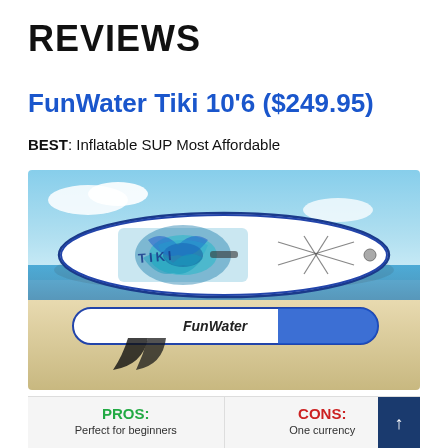REVIEWS
FunWater Tiki 10'6 ($249.95)
BEST: Inflatable SUP Most Affordable
[Figure (photo): FunWater Tiki 10'6 inflatable stand-up paddleboard shown from above on sandy beach with tropical blue water in background. Board is white with blue and teal decorative pattern and 'Tiki' branding. FunWater logo is visible on the underside shown at bottom of image.]
PROS:
Perfect for beginners
CONS:
One currency